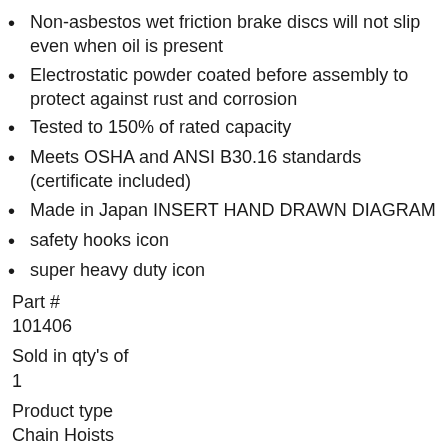Non-asbestos wet friction brake discs will not slip even when oil is present
Electrostatic powder coated before assembly to protect against rust and corrosion
Tested to 150% of rated capacity
Meets OSHA and ANSI B30.16 standards (certificate included)
Made in Japan INSERT HAND DRAWN DIAGRAM
safety hooks icon
super heavy duty icon
Part #
101406
Sold in qty's of
1
Product type
Chain Hoists